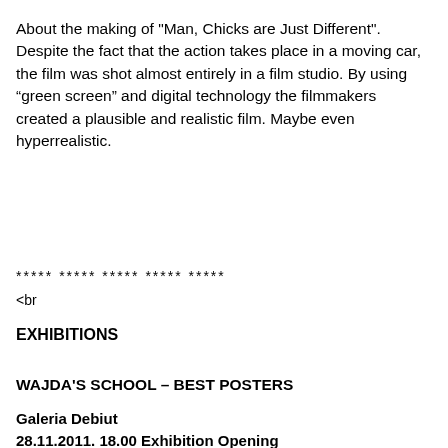About the making of "Man, Chicks are Just Different". Despite the fact that the action takes place in a moving car, the film was shot almost entirely in a film studio. By using “green screen” and digital technology the filmmakers created a plausible and realistic film. Maybe even hyperrealistic.
***** ***** ***** ***** *****
<br
EXHIBITIONS
WAJDA'S SCHOOL – BEST POSTERS
Galeria Debiut
28.11.2011. 18.00 Exhibition Opening